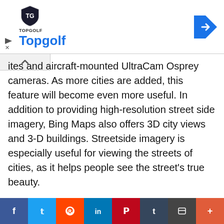[Figure (screenshot): Topgolf advertisement banner with shield logo, Topgolf text in blue, and blue navigation arrow icon. Ad indicator triangle and X button visible.]
ites and aircraft-mounted UltraCam Osprey cameras. As more cities are added, this feature will become even more useful. In addition to providing high-resolution street side imagery, Bing Maps also offers 3D city views and 3-D buildings. Streetside imagery is especially useful for viewing the streets of cities, as it helps people see the street's true beauty.
Microsoft has recently updated its Bing Maps app with new Streetside imagery. It now offers high-definition 3D maps for more than 100 US cities. In addition to this, it also features landmarks and other places of interest. With the new Streetside imagery, Bing Maps is catching up to Google Street View, which offers a 3D virtual tour of more than 50 countries on all seven continents.
[Figure (screenshot): Social sharing bar with buttons for Facebook, Twitter, Reddit, LinkedIn, Pinterest, Tumblr, Flipboard, and More.]